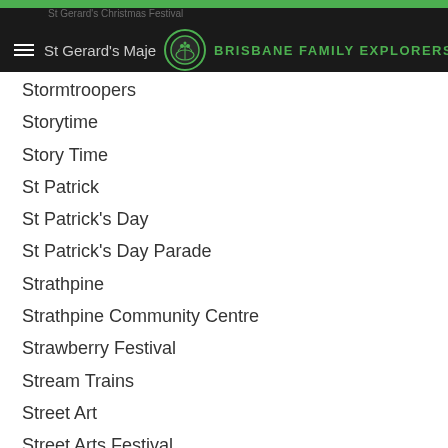St Gerard's Christmas Festival | Brisbane Family Explorers
Stormtroopers
Storytime
Story Time
St Patrick
St Patrick's Day
St Patrick's Day Parade
Strathpine
Strathpine Community Centre
Strawberry Festival
Stream Trains
Street Art
Street Arts Festival
Stripy Sock Club
Summer Land Camels
Summertime Riverfest
Suncorp Stadium
Sundaes